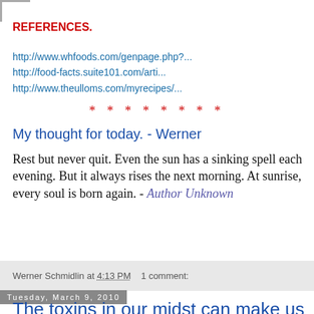REFERENCES.
http://www.whfoods.com/genpage.php?...
http://food-facts.suite101.com/arti...
http://www.theulloms.com/myrecipes/...
* * * * * * * *
My thought for today. - Werner
Rest but never quit. Even the sun has a sinking spell each evening. But it always rises the next morning. At sunrise, every soul is born again. - Author Unknown
Werner Schmidlin at 4:13 PM   1 comment:
Tuesday, March 9, 2010
The toxins in our midst can make us sick or kill us.